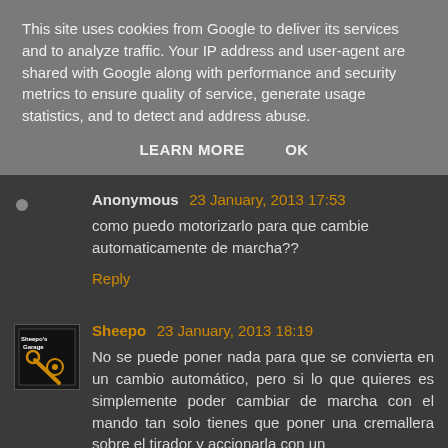This site uses cookies from Google to deliver its services and to analyze traffic. Your IP address and user-agent are shared with Google along with performance and security metrics to ensure quality of service, generate usage statistics, and to detect and address abuse.
LEARN MORE    OK
Anonymous  23 January, 2013 17:53
como puedo motorizarlo para que cambie automaticamente de marcha??
Reply
Sheepo  23 January, 2013 18:19
No se puede poner nada para que se convierta en un cambio automático, pero si lo que quieres es simplemente poder cambiar de marcha con el mando tan solo tienes que poner una cremallera sobre el tirador y accionarla con un